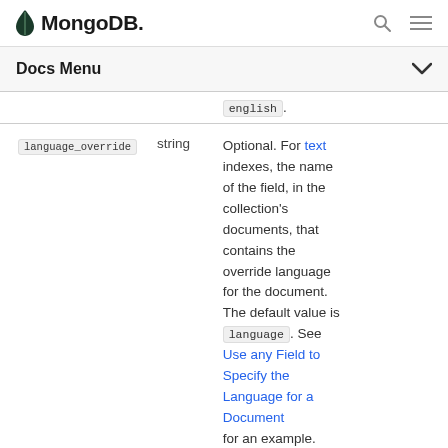MongoDB
Docs Menu
| Parameter | Type | Description |
| --- | --- | --- |
|  |  | english. |
| language_override | string | Optional. For text indexes, the name of the field, in the collection's documents, that contains the override language for the document. The default value is language. See Use any Field to Specify the Language for a Document for an example. |